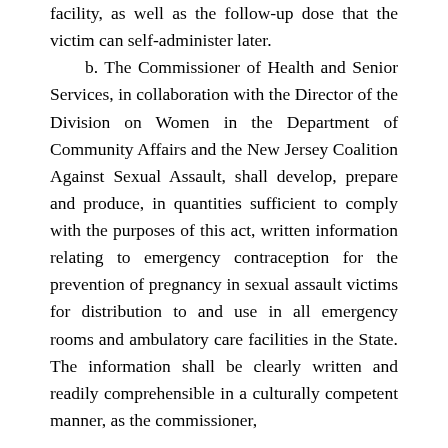facility, as well as the follow-up dose that the victim can self-administer later.

b. The Commissioner of Health and Senior Services, in collaboration with the Director of the Division on Women in the Department of Community Affairs and the New Jersey Coalition Against Sexual Assault, shall develop, prepare and produce, in quantities sufficient to comply with the purposes of this act, written information relating to emergency contraception for the prevention of pregnancy in sexual assault victims for distribution to and use in all emergency rooms and ambulatory care facilities in the State. The information shall be clearly written and readily comprehensible in a culturally competent manner, as the commissioner,